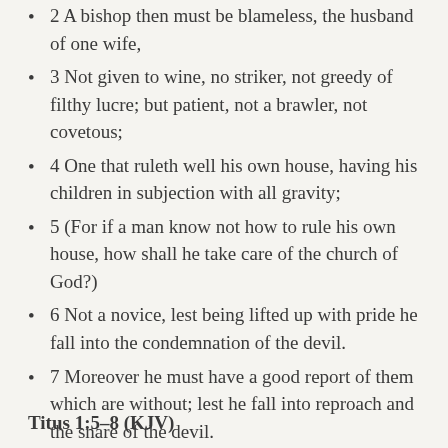2 A bishop then must be blameless, the husband of one wife,
3 Not given to wine, no striker, not greedy of filthy lucre; but patient, not a brawler, not covetous;
4 One that ruleth well his own house, having his children in subjection with all gravity;
5 (For if a man know not how to rule his own house, how shall he take care of the church of God?)
6 Not a novice, lest being lifted up with pride he fall into the condemnation of the devil.
7 Moreover he must have a good report of them which are without; lest he fall into reproach and the snare of the devil.
Titus 1:5–8 (KJV)